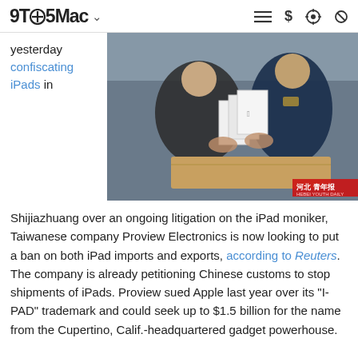9TO5Mac
yesterday confiscating iPads in
[Figure (photo): Two men, one in a dark jacket and one in a navy blue uniform with gold insignia, handling white Apple iPad boxes from a cardboard box. Watermark reads 河北青年报 / HEBEI YOUTH DAILY in red.]
Shijiazhuang over an ongoing litigation on the iPad moniker, Taiwanese company Proview Electronics is now looking to put a ban on both iPad imports and exports, according to Reuters. The company is already petitioning Chinese customs to stop shipments of iPads. Proview sued Apple last year over its "I-PAD" trademark and could seek up to $1.5 billion for the name from the Cupertino, Calif.-headquartered gadget powerhouse.
(truncated text continues below)